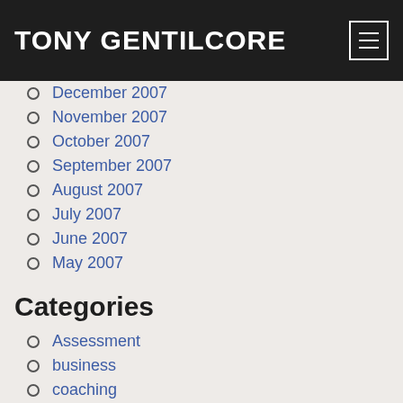TONY GENTILCORE
December 2007
November 2007
October 2007
September 2007
August 2007
July 2007
June 2007
May 2007
Categories
Assessment
business
coaching
Conditioning
continuing education
Corrective Exercise
Exercise Technique
Exercises You Should Be Doing